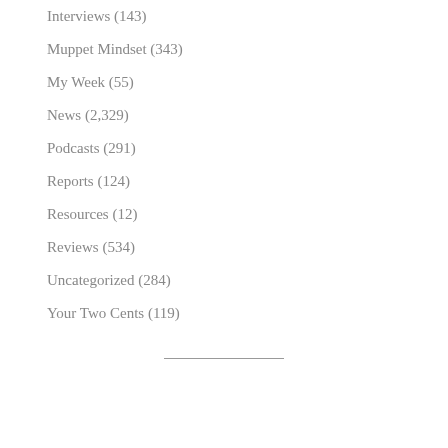Interviews (143)
Muppet Mindset (343)
My Week (55)
News (2,329)
Podcasts (291)
Reports (124)
Resources (12)
Reviews (534)
Uncategorized (284)
Your Two Cents (119)